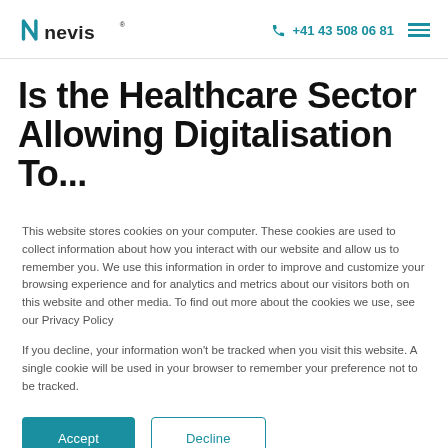nevis | +41 43 508 06 81
Is the Healthcare Sector Allowing Digitalisation To...
This website stores cookies on your computer. These cookies are used to collect information about how you interact with our website and allow us to remember you. We use this information in order to improve and customize your browsing experience and for analytics and metrics about our visitors both on this website and other media. To find out more about the cookies we use, see our Privacy Policy
If you decline, your information won't be tracked when you visit this website. A single cookie will be used in your browser to remember your preference not to be tracked.
Accept | Decline